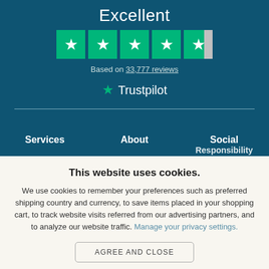Excellent
[Figure (infographic): Trustpilot 5-star rating graphic: 4 full green stars and 1 half green/grey star on green backgrounds]
Based on 33,777 reviews
[Figure (logo): Trustpilot logo: green star icon followed by the word Trustpilot in white]
Services
About
Social Responsibility
This website uses cookies.
We use cookies to remember your preferences such as preferred shipping country and currency, to save items placed in your shopping cart, to track website visits referred from our advertising partners, and to analyze our website traffic. Manage your privacy settings.
AGREE AND CLOSE